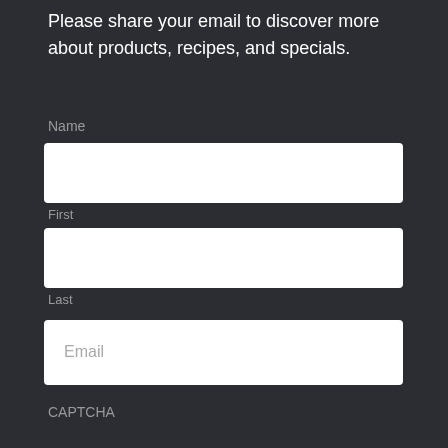Please share your email to discover more about products, recipes, and specials.
Name
[Figure (other): White input text box for First name]
First
[Figure (other): White input text box for Last name]
Last
[Figure (other): White input text box for Email with placeholder text 'Email']
CAPTCHA